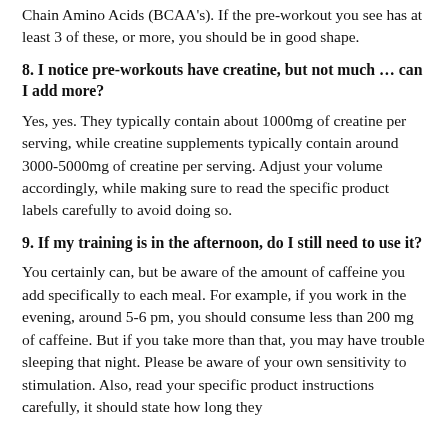Chain Amino Acids (BCAA's). If the pre-workout you see has at least 3 of these, or more, you should be in good shape.
8. I notice pre-workouts have creatine, but not much … can I add more?
Yes, yes. They typically contain about 1000mg of creatine per serving, while creatine supplements typically contain around 3000-5000mg of creatine per serving. Adjust your volume accordingly, while making sure to read the specific product labels carefully to avoid doing so.
9. If my training is in the afternoon, do I still need to use it?
You certainly can, but be aware of the amount of caffeine you add specifically to each meal. For example, if you work in the evening, around 5-6 pm, you should consume less than 200 mg of caffeine. But if you take more than that, you may have trouble sleeping that night. Please be aware of your own sensitivity to stimulation. Also, read your specific product instructions carefully, it should state how long they